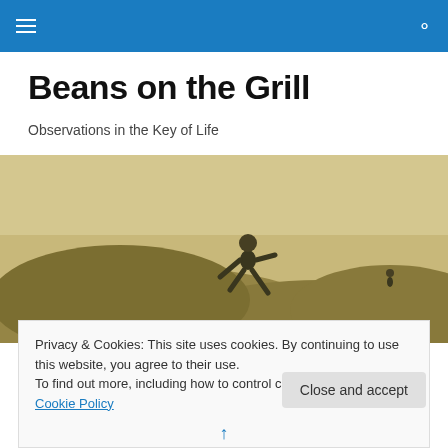Navigation menu and search icon on blue header bar
Beans on the Grill
Observations in the Key of Life
[Figure (photo): Sepia-toned vintage photograph of a person in dark clothing climbing or pulling themselves up a grassy hillside, with another figure visible in the background on the right.]
Privacy & Cookies: This site uses cookies. By continuing to use this website, you agree to their use.
To find out more, including how to control cookies, see here: Cookie Policy